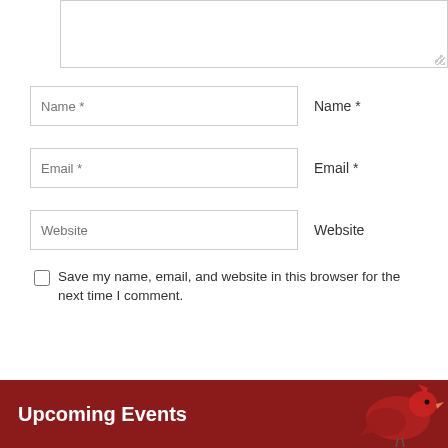[Figure (screenshot): A textarea input box (empty, with resize handle in bottom-right corner)]
Name *
Email *
Website
Save my name, email, and website in this browser for the next time I comment.
POST COMMENT
Upcoming Events